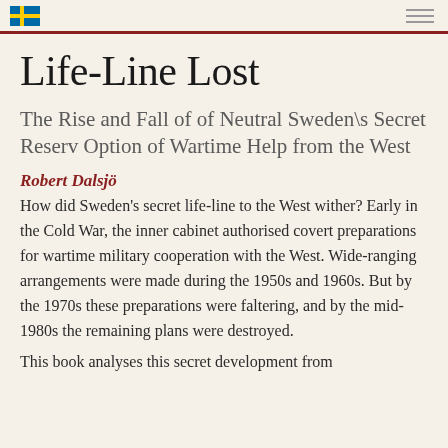[Swedish flag icon] [menu icon]
Life-Line Lost
The Rise and Fall of of Neutral Sweden\s Secret Reserv Option of Wartime Help from the West
Robert Dalsjö
How did Sweden's secret life-line to the West wither? Early in the Cold War, the inner cabinet authorised covert preparations for wartime military cooperation with the West. Wide-ranging arrangements were made during the 1950s and 1960s. But by the 1970s these preparations were faltering, and by the mid-1980s the remaining plans were destroyed.
This book analyses this secret development from